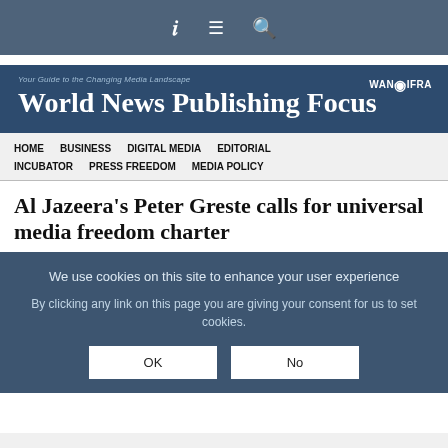i ≡ 🔍
[Figure (logo): World News Publishing Focus banner with tagline 'Your Guide to the Changing Media Landscape' and WAN-IFRA logo]
HOME  BUSINESS  DIGITAL MEDIA  EDITORIAL  INCUBATOR  PRESS FREEDOM  MEDIA POLICY
Al Jazeera's Peter Greste calls for universal media freedom charter
We use cookies on this site to enhance your user experience

By clicking any link on this page you are giving your consent for us to set cookies.
OK  No